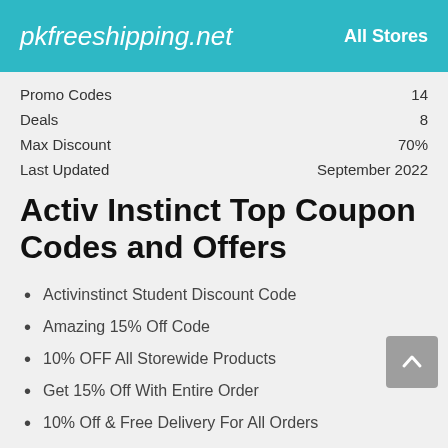pkfreeshipping.net   All Stores
| Promo Codes | 14 |
| Deals | 8 |
| Max Discount | 70% |
| Last Updated | September 2022 |
Activ Instinct Top Coupon Codes and Offers
Activinstinct Student Discount Code
Amazing 15% Off Code
10% OFF All Storewide Products
Get 15% Off With Entire Order
10% Off & Free Delivery For All Orders
Popular Stores